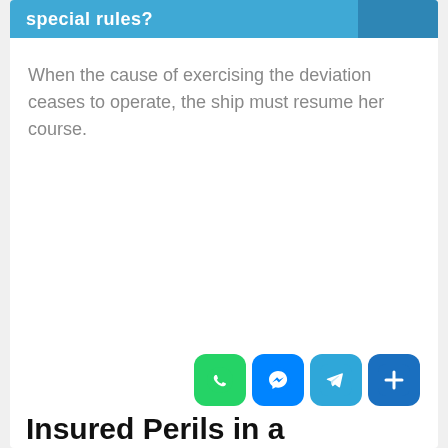special rules?
When the cause of exercising the deviation ceases to operate, the ship must resume her course.
[Figure (screenshot): Social sharing icons: WhatsApp, Messenger, Telegram, and a More/Add button]
Insured Perils in a